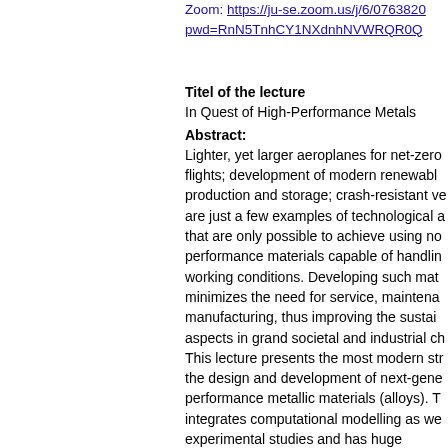Zoom: https://ju-se.zoom.us/j/6/0763820pwd=RnN5TnhCY1NXdnhNVWRQR0Q
Titel of the lecture
In Quest of High-Performance Metals
Abstract:
Lighter, yet larger aeroplanes for net-zero flights; development of modern renewable production and storage; crash-resistant ve are just a few examples of technological a that are only possible to achieve using no performance materials capable of handlin working conditions. Developing such mat minimizes the need for service, maintena manufacturing, thus improving the sustai aspects in grand societal and industrial ch This lecture presents the most modern str the design and development of next-gene performance metallic materials (alloys). T integrates computational modelling as we experimental studies and has huge potenti interdisciplinary collaborations. These st accelerates industrial innovation by openi horizons for developing methodological t far-reaching implications in strategic sect